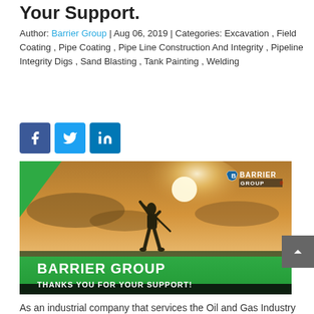Your Support.
Author: Barrier Group | Aug 06, 2019 | Categories: Excavation , Field Coating , Pipe Coating , Pipe Line Construction And Integrity , Pipeline Integrity Digs , Sand Blasting , Tank Painting , Welding
[Figure (illustration): Social media icons: Facebook (blue), Twitter (light blue), LinkedIn (blue)]
[Figure (photo): Barrier Group banner image showing a silhouette of a golfer swinging against a sunset sky background, with Barrier Group logo in top right. Green bar at bottom reads 'BARRIER GROUP THANKS YOU FOR YOUR SUPPORT!']
As an industrial company that services the Oil and Gas Industry across Western Canada, we believe that we need to do more than just focus on our work. With this in mind, we organized